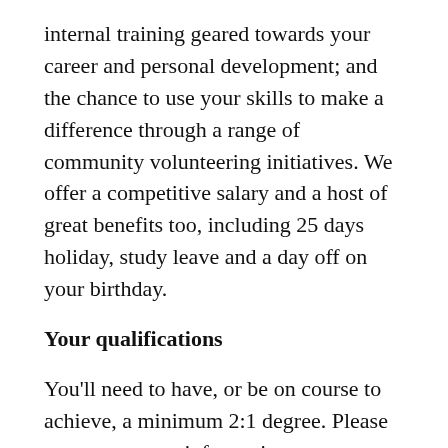internal training geared towards your career and personal development; and the chance to use your skills to make a difference through a range of community volunteering initiatives. We offer a competitive salary and a host of great benefits too, including 25 days holiday, study leave and a day off on your birthday.
Your qualifications
You'll need to have, or be on course to achieve, a minimum 2:1 degree. Please see programme information on our Careers Portal for specific requirements. We will look at more than just your academic results and will also consider your strengths, values and motivations. See our